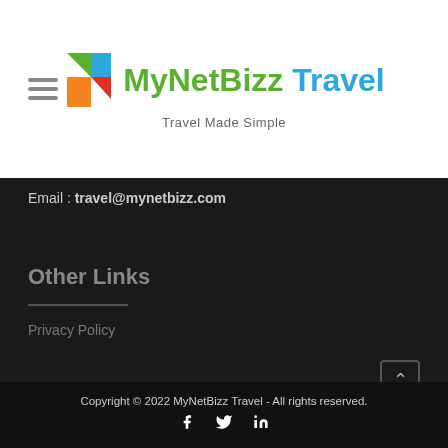[Figure (logo): MyNetBizz Travel logo with colorful geometric icon and tagline 'Travel Made Simple']
Email : travel@mynetbizz.com
Other Links
Privacy Policy
Copyright © 2022 MyNetBizz Travel - All rights reserved.